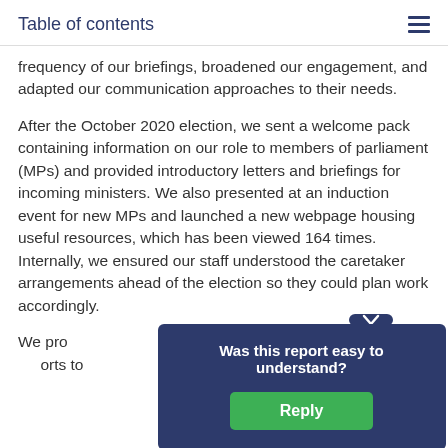Table of contents
frequency of our briefings, broadened our engagement, and adapted our communication approaches to their needs.
After the October 2020 election, we sent a welcome pack containing information on our role to members of parliament (MPs) and provided introductory letters and briefings for incoming ministers. We also presented at an induction event for new MPs and launched a new webpage housing useful resources, which has been viewed 164 times. Internally, we ensured our staff understood the caretaker arrangements ahead of the election so they could plan work accordingly.
We pro... briefings to parlia... orts to
[Figure (other): Modal dialog overlay with question 'Was this report easy to understand?' and a green Reply button, positioned over the bottom right of the page content. Above the modal is a dark blue chevron/down-arrow button.]